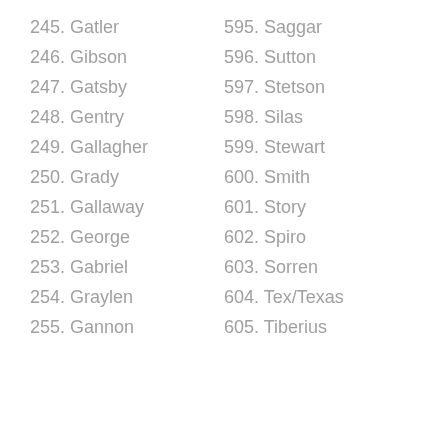245. Gatler
246. Gibson
247. Gatsby
248. Gentry
249. Gallagher
250. Grady
251. Gallaway
252. George
253. Gabriel
254. Graylen
255. Gannon
595. Saggar
596. Sutton
597. Stetson
598. Silas
599. Stewart
600. Smith
601. Story
602. Spiro
603. Sorren
604. Tex/Texas
605. Tiberius